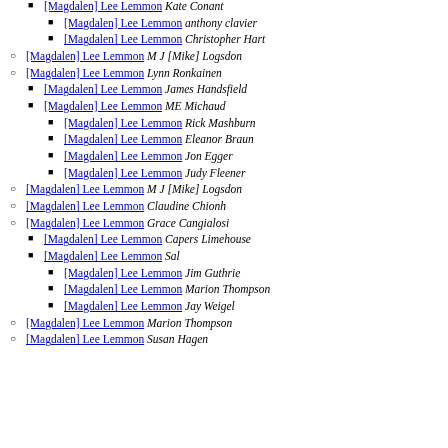[Magdalen] Lee Lemmon  Kate Conant
[Magdalen] Lee Lemmon  anthony clavier
[Magdalen] Lee Lemmon  Christopher Hart
[Magdalen] Lee Lemmon  M J [Mike] Logsdon
[Magdalen] Lee Lemmon  Lynn Ronkainen
[Magdalen] Lee Lemmon  James Handsfield
[Magdalen] Lee Lemmon  ME Michaud
[Magdalen] Lee Lemmon  Rick Mashburn
[Magdalen] Lee Lemmon  Eleanor Braun
[Magdalen] Lee Lemmon  Jon Egger
[Magdalen] Lee Lemmon  Judy Fleener
[Magdalen] Lee Lemmon  M J [Mike] Logsdon
[Magdalen] Lee Lemmon  Claudine Chionh
[Magdalen] Lee Lemmon  Grace Cangialosi
[Magdalen] Lee Lemmon  Capers Limehouse
[Magdalen] Lee Lemmon  Sal
[Magdalen] Lee Lemmon  Jim Guthrie
[Magdalen] Lee Lemmon  Marion Thompson
[Magdalen] Lee Lemmon  Jay Weigel
[Magdalen] Lee Lemmon  Marion Thompson
[Magdalen] Lee Lemmon  Susan Hagen